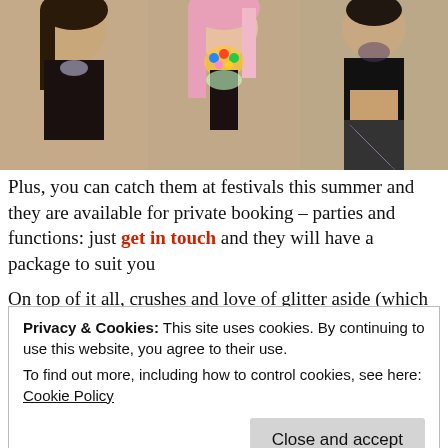[Figure (photo): Three women posing together; center woman has pink hair and colorful glitter/jewel body decoration, all wearing black clothing.]
Plus, you can catch them at festivals this summer and they are available for private booking – parties and functions: just get in touch and they will have a package to suit you
On top of it all, crushes and love of glitter aside (which might make me biased as I barely managed to remove it all from my face and body as
Privacy & Cookies: This site uses cookies. By continuing to use this website, you agree to their use.
To find out more, including how to control cookies, see here: Cookie Policy
Close and accept